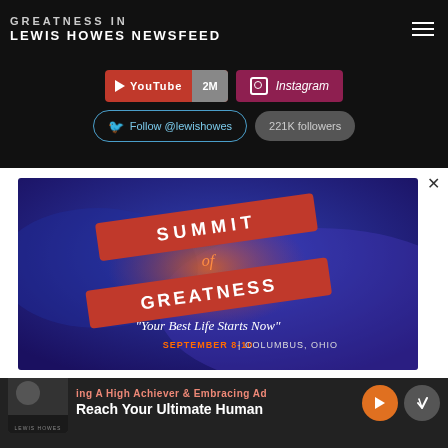GREATNESS IN
LEWIS HOWES NEWSFEED
[Figure (screenshot): YouTube button showing 2M subscribers]
[Figure (screenshot): Instagram button]
[Figure (screenshot): Twitter Follow @lewishowes button with 221K followers]
[Figure (infographic): Summit of Greatness modal ad: 'Your Best Life Starts Now' SEPTEMBER 8-10 | COLUMBUS, OHIO, with neon orange Summit of Greatness logo on blue background]
ing A High Achiever & Embracing Ad
Reach Your Ultimate Human